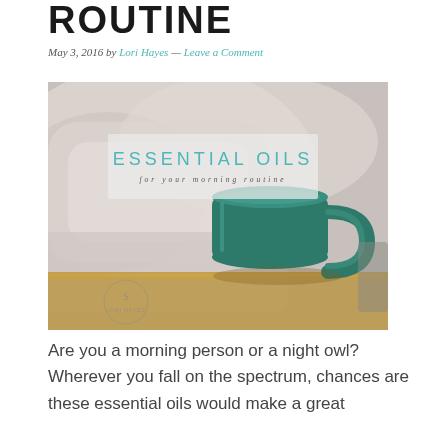ROUTINE
May 3, 2016 by Lori Hayes — Leave a Comment
[Figure (photo): A teal/green ceramic coffee mug sitting on a wooden surface with soft white bedding in the background. Overlay text reads 'ESSENTIAL OILS for your morning routine'. A small logo watermark is visible in the lower left corner.]
Are you a morning person or a night owl? Wherever you fall on the spectrum, chances are these essential oils would make a great